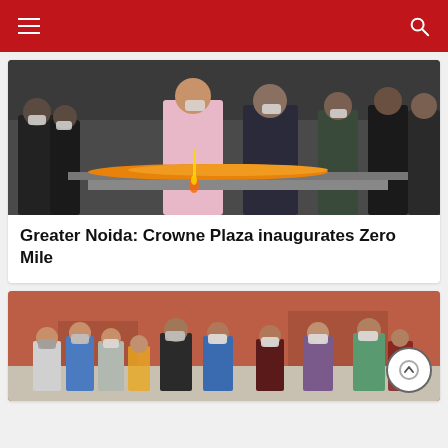Navigation header with hamburger menu and search icon
[Figure (photo): Group of people in masks at an inauguration event at Crowne Plaza, with orange flower garlands visible on a table]
Greater Noida: Crowne Plaza inaugurates Zero Mile
[Figure (photo): Group of people in masks standing in front of a red brick building]